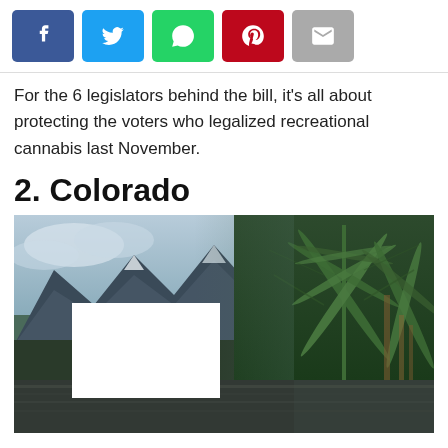[Figure (screenshot): Social media share buttons: Facebook (blue), Twitter (light blue), WhatsApp (green), Pinterest (red), Email (grey)]
For the 6 legislators behind the bill, it’s all about protecting the voters who legalized recreational cannabis last November.
2. Colorado
[Figure (photo): Composite image showing Rocky Mountain landscape on the left blending into a cannabis plant on the right, with a white silhouette of the state of Colorado overlaid in the center-left.]